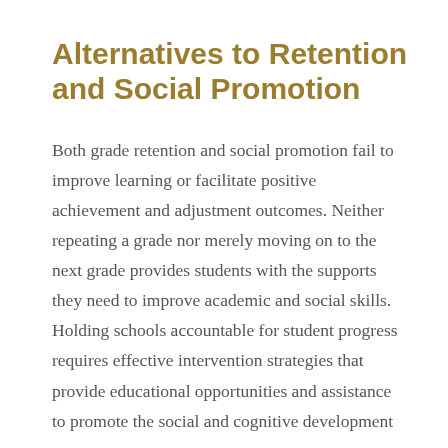Alternatives to Retention and Social Promotion
Both grade retention and social promotion fail to improve learning or facilitate positive achievement and adjustment outcomes. Neither repeating a grade nor merely moving on to the next grade provides students with the supports they need to improve academic and social skills. Holding schools accountable for student progress requires effective intervention strategies that provide educational opportunities and assistance to promote the social and cognitive development